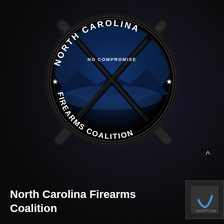[Figure (logo): North Carolina Firearms Coalition circular logo with crossed rifles, star emblems, and text reading 'NORTH CAROLINA FIREARMS COALITION' and 'NO COMPROMISE' on a dark background.]
North Carolina Firearms Coalition